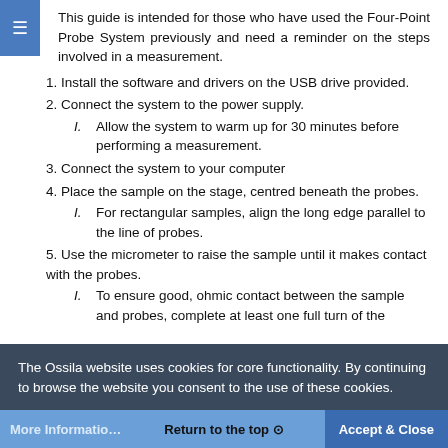This guide is intended for those who have used the Four-Point Probe System previously and need a reminder on the steps involved in a measurement.
1. Install the software and drivers on the USB drive provided.
2. Connect the system to the power supply.
I. Allow the system to warm up for 30 minutes before performing a measurement.
3. Connect the system to your computer
4. Place the sample on the stage, centred beneath the probes.
I. For rectangular samples, align the long edge parallel to the line of probes.
5. Use the micrometer to raise the sample until it makes contact with the probes.
I. To ensure good, ohmic contact between the sample and probes, complete at least one full turn of the
The Ossila website uses cookies for core functionality. By continuing to browse the website you consent to the use of these cookies.
More Information   Return to the top ⊕   Accept & Close